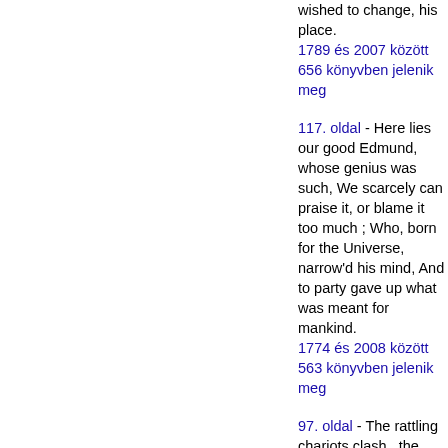wished to change, his place.
1789 és 2007 között 656 könyvben jelenik meg
117. oldal - Here lies our good Edmund, whose genius was such, We scarcely can praise it, or blame it too much ; Who, born for the Universe, narrow'd his mind, And to party gave up what was meant for mankind.
1774 és 2008 között 563 könyvben jelenik meg
97. oldal - The rattling chariots clash , the torches glare. Sure scenes like these no troubles e'er annoy ! Sure these denote one